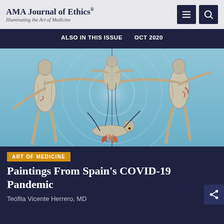AMA Journal of Ethics® — Illuminating the Art of Medicine
ALSO IN THIS ISSUE   OCT 2020
[Figure (illustration): Anatomical painting showing figures with exposed musculature arranged around a circular form, in the style of Renaissance anatomical studies, with blue background. Artwork related to Spain's COVID-19 pandemic.]
ART OF MEDICINE
Paintings From Spain's COVID-19 Pandemic
Teófila Vicente Herrero, MD